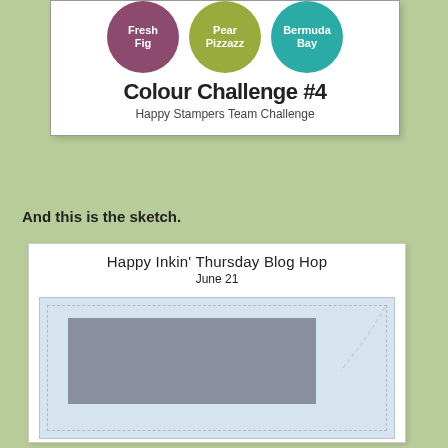[Figure (infographic): Colour Challenge #4 card with three colored circles: Fresh Fig (purple), Pear Pizzazz (green), Bermuda Bay (teal). Title reads 'Colour Challenge #4' and subtitle 'Happy Stampers Team Challenge'.]
And this is the sketch.
[Figure (illustration): Happy Inkin' Thursday Blog Hop card dated June 21, showing a sketch layout with a light blue background, dashed border, a gray rectangle placeholder, and a dashed diagonal line in the upper right corner.]